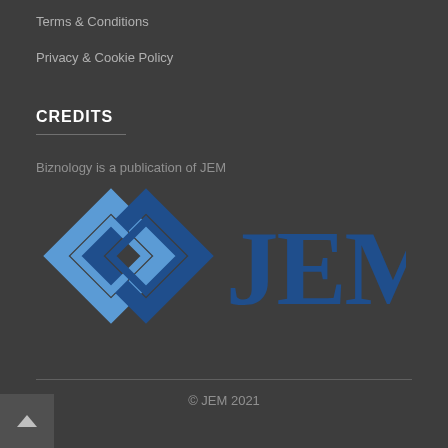Terms & Conditions
Privacy & Cookie Policy
CREDITS
Biznology is a publication of JEM
[Figure (logo): JEM logo with two interlocking diamond chain link shapes in blue tones on the left and bold blue letters 'JEM' on the right]
© JEM 2021